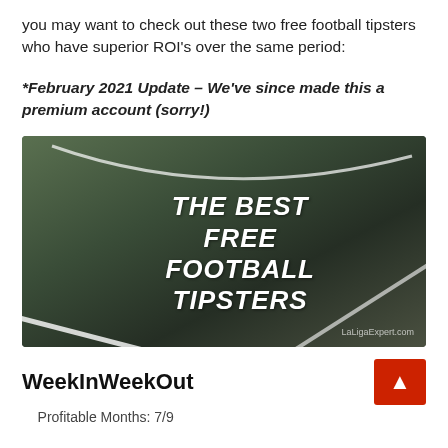you may want to check out these two free football tipsters who have superior ROI's over the same period:
*February 2021 Update – We've since made this a premium account (sorry!)
[Figure (photo): Football pitch with white line markings, dark green grass, overlaid with bold italic text reading 'THE BEST FREE FOOTBALL TIPSTERS'. Watermark 'LaLigaExpert.com' at bottom right.]
WeekInWeekOut
Profitable Months: 7/9